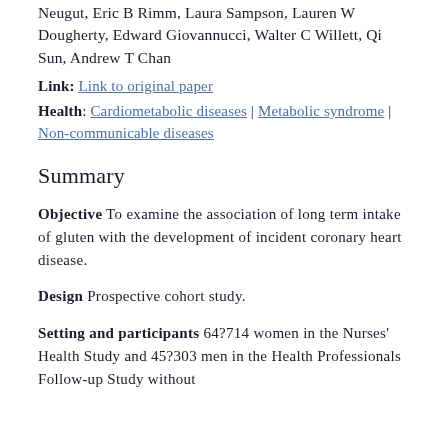Neugut, Eric B Rimm, Laura Sampson, Lauren W Dougherty, Edward Giovannucci, Walter C Willett, Qi Sun, Andrew T Chan
Link: Link to original paper
Health: Cardiometabolic diseases | Metabolic syndrome | Non-communicable diseases
Summary
Objective To examine the association of long term intake of gluten with the development of incident coronary heart disease.
Design Prospective cohort study.
Setting and participants 64?714 women in the Nurses' Health Study and 45?303 men in the Health Professionals Follow-up Study without